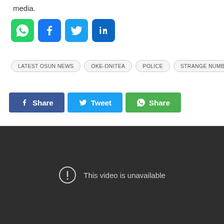media.
[Figure (infographic): Row of four social media icon buttons: WhatsApp (green), Facebook (blue), Twitter (light blue), LinkedIn (dark blue)]
LATEST OSUN NEWS
OKE-ONITEA
POLICE
STRANGE NUMBER
[Figure (infographic): Three share buttons: Facebook Share (dark blue), Twitter Tweet (light blue), WhatsApp Share (green)]
[Figure (screenshot): Dark video player area showing 'This video is unavailable' message with an exclamation icon]